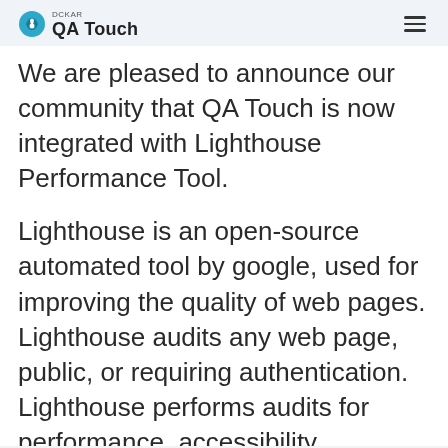DCKAR QA Touch
We are pleased to announce our community that QA Touch is now integrated with Lighthouse Performance Tool.
Lighthouse is an open-source automated tool by google, used for improving the quality of web pages. Lighthouse audits any web page, public, or requiring authentication. Lighthouse performs audits for performance, accessibility, progressive web apps, SEO and more